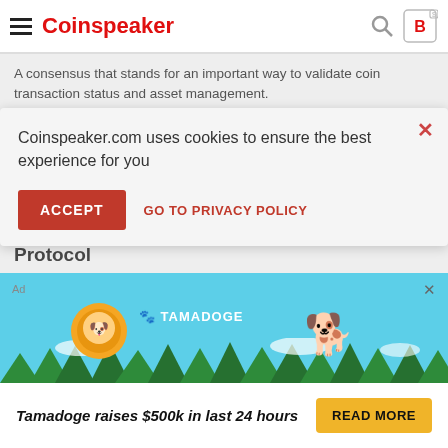Coinspeaker
A consensus that stands for an important way to validate coin transaction status and asset management.
Proof-of-work System
A proof-of-work (PoW) system (or protocol, or function) is an economic measure t... service abuses such... some work from the... time by a computer.
Protocol
A special regulation...
[Figure (screenshot): Cookie consent modal popup on Coinspeaker.com with ACCEPT button and GO TO PRIVACY POLICY link]
[Figure (infographic): Tamadoge advertisement banner: Tamadoge raises $500k in last 24 hours with READ MORE button, light blue background with trees and Tamadoge logo/character]